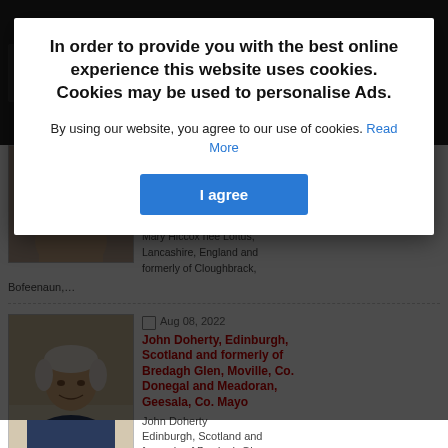In order to provide you with the best online experience this website uses cookies. Cookies may be used to personalise Ads.
By using our website, you agree to our use of cookies. Read More
I agree
[Figure (photo): Portrait photo of Mary Hiccox (first obituary)]
Mary Hiccox nee Loftus, Lancashire, England and formerly of Cloughbrack, Bofeenaun,…
[Figure (photo): Portrait photo of John Doherty, elderly man with white hair smiling]
Aug 08, 2022
John Doherty, Edinburgh, Scotland and formerly of Bredagh Glen, Moville, Co. Donegal and Meadoran, Geesala, Co. Mayo
John Doherty Edinburgh, Scotland and formerly of Brodagh Glen,